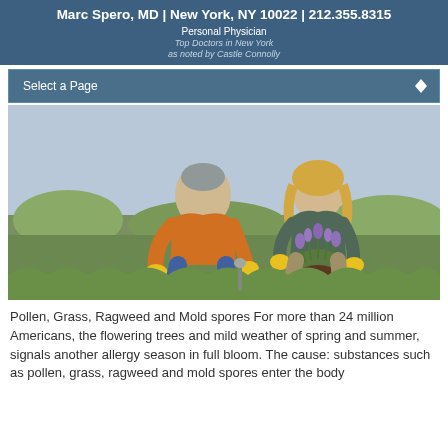Marc Spero, MD | New York, NY 10022 | 212.355.8315
Personal Physician
Top Doctors in New York
as noted by Castle Connolly
Select a Page
[Figure (photo): A man in an orange shirt and a woman with blonde hair, both wearing yellow gardening gloves, kneeling in a garden planting herbs or flowers outdoors.]
Pollen, Grass, Ragweed and Mold spores For more than 24 million Americans, the flowering trees and mild weather of spring and summer, signals another allergy season in full bloom. The cause: substances such as pollen, grass, ragweed and mold spores enter the body